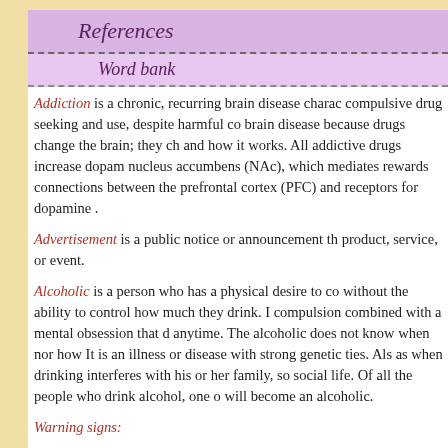References
Word bank
Addiction is a chronic, recurring brain disease characterized by compulsive drug seeking and use, despite harmful consequences. It's a brain disease because drugs change the brain; they change its structure and how it works. All addictive drugs increase dopamine in the nucleus accumbens (NAc), which mediates rewards and weakens connections between the prefrontal cortex (PFC) and receptors for dopamine .
Advertisement is a public notice or announcement that promotes a product, service, or event.
Alcoholic is a person who has a physical desire to consume alcohol without the ability to control how much they drink. It involves a compulsion combined with a mental obsession that does not stop anytime. The alcoholic does not know when nor how to stop drinking. It is an illness or disease with strong genetic ties. Alcoholism is seen as when drinking interferes with his or her family, social life. Of all the people who drink alcohol, one out of nine will become an alcoholic.
Warning signs: